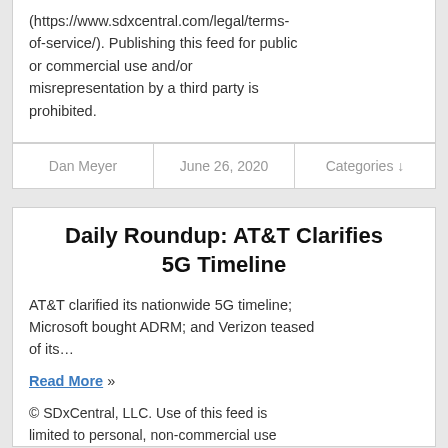(https://www.sdxcentral.com/legal/terms-of-service/). Publishing this feed for public or commercial use and/or misrepresentation by a third party is prohibited.
| Dan Meyer | June 26, 2020 | Categories ↓ |
| --- | --- | --- |
Daily Roundup: AT&T Clarifies 5G Timeline
AT&T clarified its nationwide 5G timeline; Microsoft bought ADRM; and Verizon teased of its…
Read More »
© SDxCentral, LLC. Use of this feed is limited to personal, non-commercial use